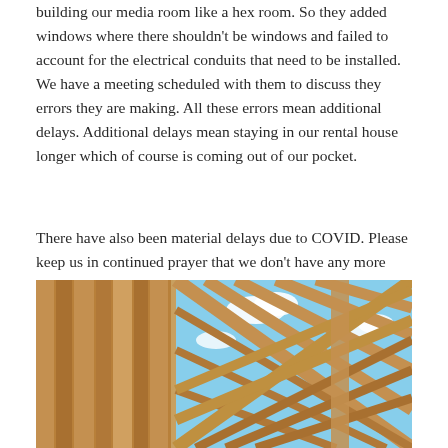building our media room like a hex room. So they added windows where there shouldn't be windows and failed to account for the electrical conduits that need to be installed. We have a meeting scheduled with them to discuss they errors they are making. All these errors mean additional delays. Additional delays mean staying in our rental house longer which of course is coming out of our pocket.
There have also been material delays due to COVID. Please keep us in continued prayer that we don't have any more delays and the process goes smoothly from here on out. I certainly am anxious to move in. I don't really feel like I can settled until I am in our new home.
[Figure (photo): Construction photo showing wooden framing lumber and a lattice of wooden beams against a blue sky with white clouds]